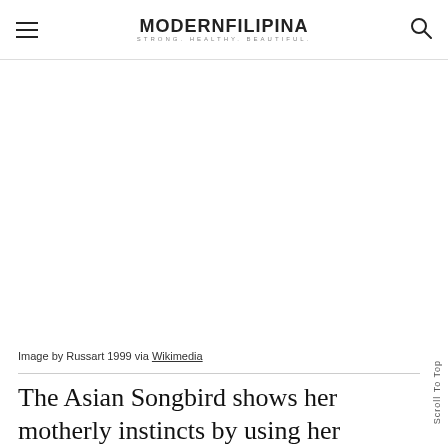MODERNFILIPINA STRONG. HEALTHY. BEAUTIFUL.
[Figure (photo): Large white/blank image placeholder area for a photo]
Image by Russart 1999 via Wikimedia
The Asian Songbird shows her motherly instincts by using her talents to support and campaign for